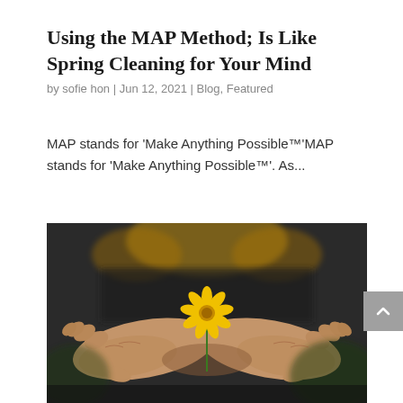Using the MAP Method; Is Like Spring Cleaning for Your Mind
by sofie hon | Jun 12, 2021 | Blog, Featured
MAP stands for 'Make Anything Possible™'MAP stands for 'Make Anything Possible™'. As...
[Figure (photo): Close-up photo of two cupped hands holding a small yellow flower, with a blurred dark background and someone wearing a yellow shirt visible behind.]